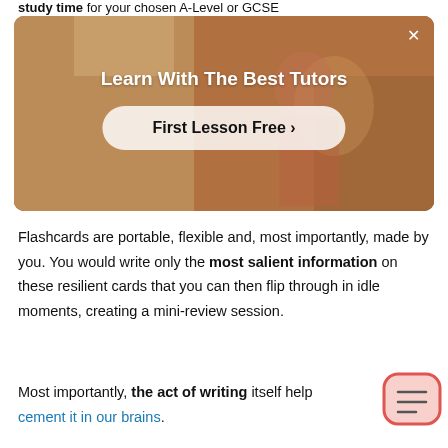study time for your chosen A-Level or GCSE
[Figure (screenshot): Advertisement banner showing a person in a red top with text 'Learn With The Best Tutors' and a button 'First Lesson Free >' on a warm brown background photo, with an X close button in the top right corner.]
Flashcards are portable, flexible and, most importantly, made by you. You would write only the most salient information on these resilient cards that you can then flip through in idle moments, creating a mini-review session.
Most importantly, the act of writing itself help cement it in our brains.